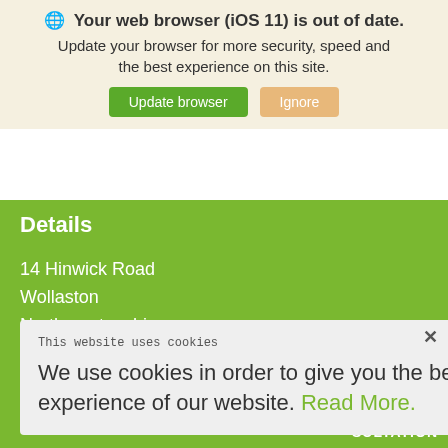🌐 Your web browser (iOS 11) is out of date. Update your browser for more security, speed and the best experience on this site.
Update browser | Ignore
Details
14 Hinwick Road
Wollaston
Northamptonshire
NN29 7QT
01933 665 151
This website uses cookies
We use cookies in order to give you the best experience of our website. Read More.